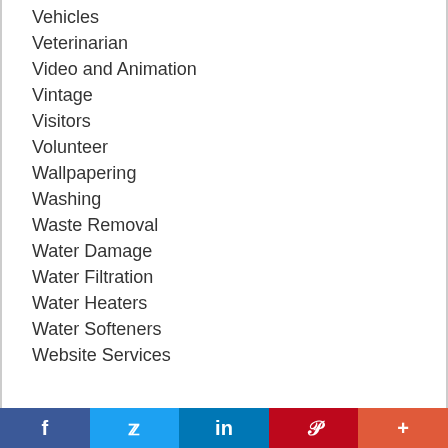Vehicles
Veterinarian
Video and Animation
Vintage
Visitors
Volunteer
Wallpapering
Washing
Waste Removal
Water Damage
Water Filtration
Water Heaters
Water Softeners
Website Services